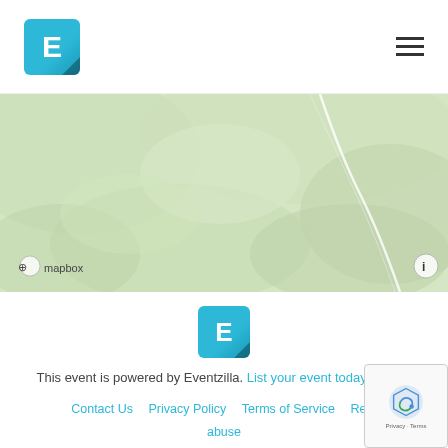[Figure (logo): Eventzilla logo: teal square with white E letter and dark triangle corner, top-left header]
[Figure (other): Hamburger menu icon (three horizontal lines), top-right header]
[Figure (map): Mapbox topographic map with light green terrain, white road lines, mapbox attribution bottom-left, info icon bottom-right]
[Figure (logo): Eventzilla logo: teal square with white E letter, centered in footer area]
This event is powered by Eventzilla. List your event today for free
Contact Us   Privacy Policy   Terms of Service   Re... abuse